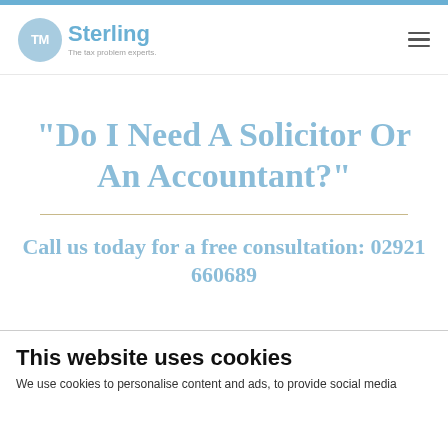TM Sterling – The tax problem experts.
“Do I Need A Solicitor Or An Accountant?”
Call us today for a free consultation: 02921 660689
This website uses cookies
We use cookies to personalise content and ads, to provide social media